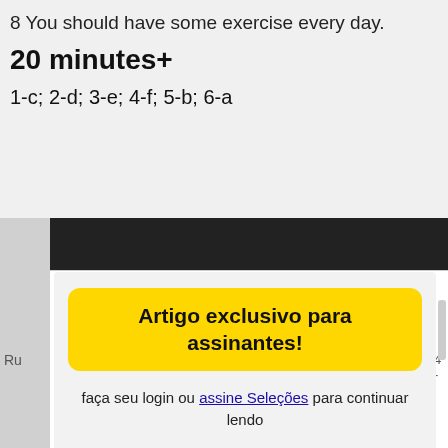8 You should have some exercise every day.
20 minutes+
1-c; 2-d; 3-e; 4-f; 5-b; 6-a
[Figure (screenshot): Modal overlay with yellow banner reading 'Artigo exclusivo para assinantes!' with login prompt in Portuguese, on a dark background with white content area. Includes link 'assine Seleções' and 'Faça login aqui.']
faça seu login ou assine Seleções para continuar lendo
Já tem cadastro? Faça login aqui.
Já sou assinante da Revista Impressa